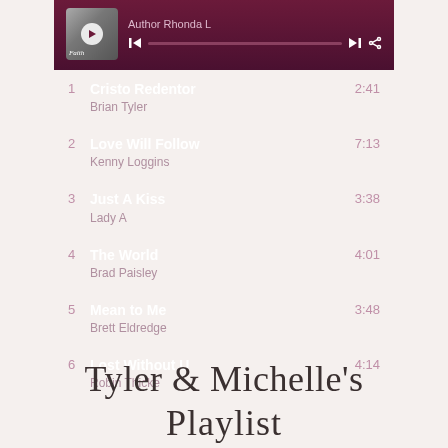[Figure (screenshot): Music player app screenshot showing a playlist with 6 tracks on a dark plum/maroon background. Header shows album art with play button and Author Rhonda L text with playback controls. Tracks listed: 1. Cristo Redentor - Brian Tyler 2:41, 2. Love Will Follow - Kenny Loggins 7:13, 3. Just A Kiss - Lady A 3:38, 4. The World - Brad Paisley 4:01, 5. Mean to Me - Brett Eldredge 3:48, 6. Lost Without U - Robin Thicke 4:14]
Tyler & Michelle's Playlist